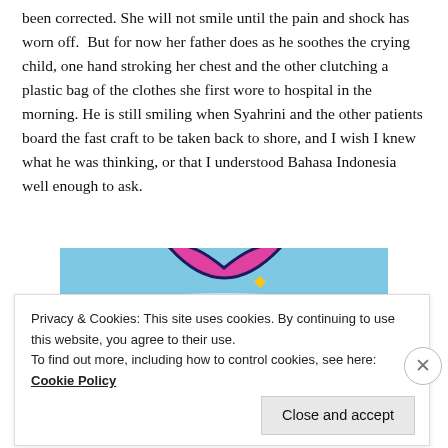been corrected. She will not smile until the pain and shock has worn off.  But for now her father does as he soothes the crying child, one hand stroking her chest and the other clutching a plastic bag of the clothes she first wore to hospital in the morning. He is still smiling when Syahrini and the other patients board the fast craft to be taken back to shore, and I wish I knew what he was thinking, or that I understood Bahasa Indonesia well enough to ask.
[Figure (illustration): Partial view of a colorful illustration showing blue sky background with a pink/magenta curved shape and a yellow diamond/star shape visible at the top of the image.]
Privacy & Cookies: This site uses cookies. By continuing to use this website, you agree to their use.
To find out more, including how to control cookies, see here: Cookie Policy
Close and accept